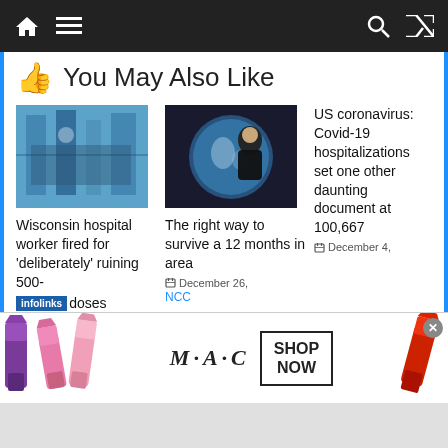Navigation bar with home, menu, search, and shuffle icons
You May Also Like
[Figure (photo): Photo of blue wall with pipes/chains, related to Wisconsin hospital story]
Wisconsin hospital worker fired for 'deliberately' ruining 500-doses
[Figure (photo): Astronaut floating near window with Earth visible behind]
The right way to survive a 12 months in area
December 26,
NCC
US coronavirus: Covid-19 hospitalizations set one other daunting document at 100,667
December 4,
[Figure (photo): M·A·C Cosmetics advertisement showing lipsticks with Shop Now button]